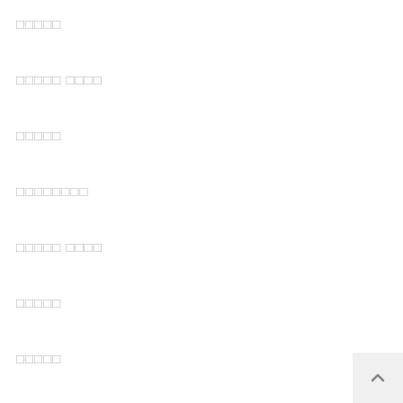□□□□□
□□□□□ □□□□
□□□□□
□□□□□□□□
□□□□□ □□□□
□□□□□
□□□□□
□□□□□□□□